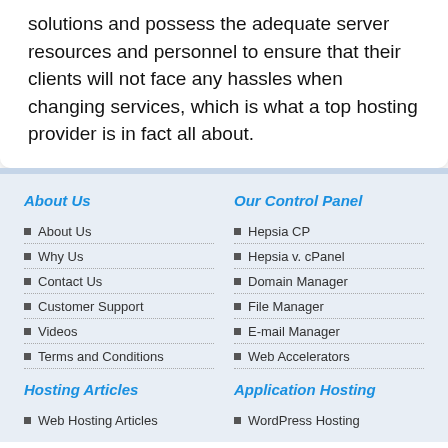solutions and possess the adequate server resources and personnel to ensure that their clients will not face any hassles when changing services, which is what a top hosting provider is in fact all about.
About Us
About Us
Why Us
Contact Us
Customer Support
Videos
Terms and Conditions
Our Control Panel
Hepsia CP
Hepsia v. cPanel
Domain Manager
File Manager
E-mail Manager
Web Accelerators
Hosting Articles
Web Hosting Articles
Application Hosting
WordPress Hosting